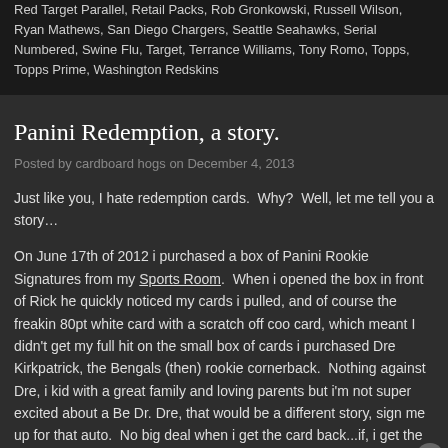Red Target Parallel, Retail Packs, Rob Gronkowski, Russell Wilson, Ryan Mathews, San Diego Chargers, Seattle Seahawks, Serial Numbered, Swine Flu, Target, Terrance Williams, Tony Romo, Topps, Topps Prime, Washington Redskins
Panini Redemption, a story.
Posted by cardboard hogs on December 4, 2013
Just like you, I hate redemption cards.  Why?  Well, let me tell you a story…
On June 17th of 2012 i purchased a box of Panini Rookie Signatures from my Sports Room.  When i opened the box in front of Rick he quickly noticed my cards i pulled, and of course the freakin 80pt white card with a scratch off card, which meant I didn't get my full hit on the small box of cards i purchased. Dre Kirkpatrick, the Bengals (then) rookie cornerback.  Nothing against Dre, i kid with a great family and loving parents but i'm not super excited about a Be Dr. Dre, that would be a different story, sign me up for that auto.  No big deal when i get the card back...if, i get the card back.
Advertisements